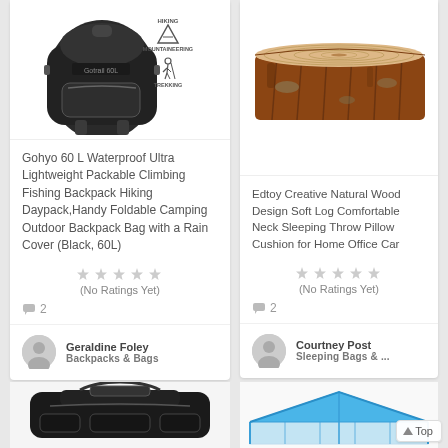[Figure (photo): Black hiking backpack with icons for Hiking, Mountaineering, Trekking]
Gohyo 60 L Waterproof Ultra Lightweight Packable Climbing Fishing Backpack Hiking Daypack,Handy Foldable Camping Outdoor Backpack Bag with a Rain Cover (Black, 60L)
(No Ratings Yet)
2
Geraldine Foley
Backpacks & Bags
[Figure (photo): Black duffel bag / backpack at bottom left]
[Figure (photo): Log-shaped pillow / neck cushion made of wood design]
Edtoy Creative Natural Wood Design Soft Log Comfortable Neck Sleeping Throw Pillow Cushion for Home Office Car
(No Ratings Yet)
2
Courtney Post
Sleeping Bags & ...
[Figure (photo): Blue canopy / tent at bottom right]